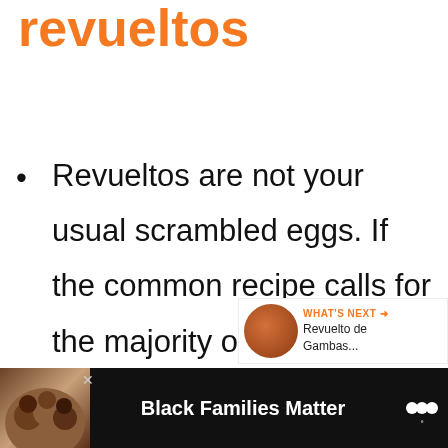revueltos
Revueltos are not your usual scrambled eggs. If the common recipe calls for the majority of your dish being eggs and only a small portion of it being other ingredients of your choi[ce,] you have to interchange you[r ratios to] make Revueltos.
[Figure (infographic): Floating social UI: heart/like button (orange circle with heart icon) and share button, with count '4' below heart]
[Figure (infographic): What's Next panel showing a circular food image and text 'WHAT'S NEXT → Revuelto de Gambas...']
[Figure (infographic): Advertisement banner at bottom: dark background, photo of smiling family, text 'Black Families Matter', close button X, and media brand logo]